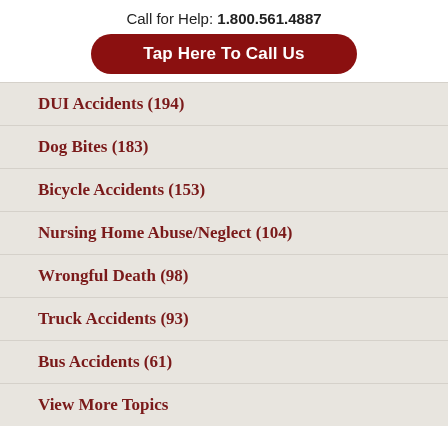Call for Help: 1.800.561.4887
Tap Here To Call Us
DUI Accidents (194)
Dog Bites (183)
Bicycle Accidents (153)
Nursing Home Abuse/Neglect (104)
Wrongful Death (98)
Truck Accidents (93)
Bus Accidents (61)
View More Topics